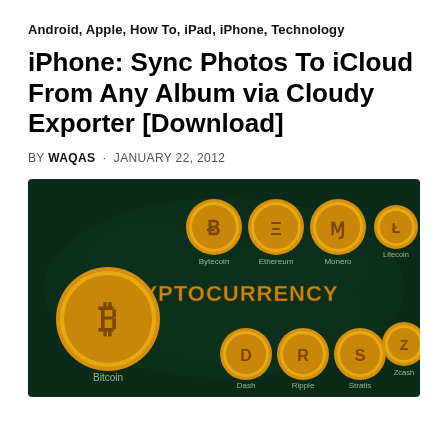Android, Apple, How To, iPad, iPhone, Technology
iPhone: Sync Photos To iCloud From Any Album via Cloudy Exporter [Download]
BY WAQAS · JANUARY 22, 2012
[Figure (illustration): Cryptocurrency infographic showing golden coin icons for various cryptocurrencies: Bitcoin (large, center-left), Bytecoin, Ethereum, Monero, Litecoin (top row), Dash, Ripple, Stratis, Zcash (bottom row) on a dark green background with a world map silhouette and the text CRYPTOCURRENCY in large gold letters.]